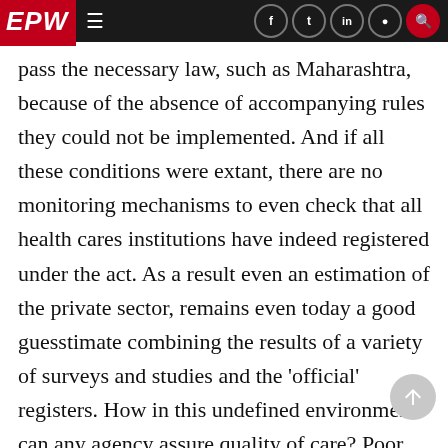EPW
pass the necessary law, such as Maharashtra, because of the absence of accompanying rules they could not be implemented. And if all these conditions were extant, there are no monitoring mechanisms to even check that all health cares institutions have indeed registered under the act. As a result even an estimation of the private sector, remains even today a good guesstimate combining the results of a variety of surveys and studies and the 'official' registers. How in this undefined environment can any agency assure quality of care? Poor, indifferent medicare, unethical practices, gross negligence have all features of private care, at least as much as it is in the public hospitals. But while the latter could be